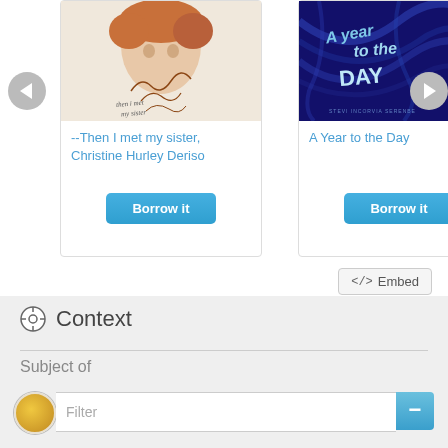[Figure (screenshot): Book carousel showing two book cards. Left card: '--Then I met my sister, Christine Hurley Deriso' with a cover image of a child's face, and a 'Borrow it' button. Right card: 'A Year to the Day' with a dark swirling night sky cover, and a 'Borrow it' button. Navigation arrows on left and right sides.]
</> Embed
Context
Subject of
Filter